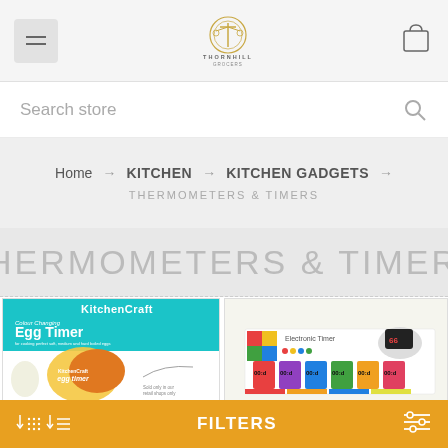Thornhill Grocers — navigation header with hamburger menu, logo, and cart icon
Search store
Home → KITCHEN → KITCHEN GADGETS →
THERMOMETERS & TIMERS
THERMOMETERS & TIMERS
[Figure (photo): KitchenCraft Colour Changing Egg Timer product packaging showing egg timer product]
[Figure (photo): Electronic timer products in colorful display box]
FILTERS bar with grid view icons, list view icon, filters label, and settings icon